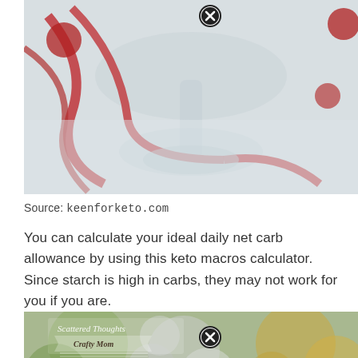[Figure (photo): Close-up photo of a clear glass dish or bowl with a red ribbon and red round decorations on a white surface. A close button (X in circle) overlay is visible at the top center.]
Source: keenforketo.com
You can calculate your ideal daily net carb allowance by using this keto macros calculator. Since starch is high in carbs, they may not work for you if you are.
[Figure (photo): Blurred bokeh-style photo with soft green, gray, and golden tones. A watermark reads 'Scattered Thoughts Crafty Mom' at the top left. A close button (X in circle) overlay is visible at the bottom center.]